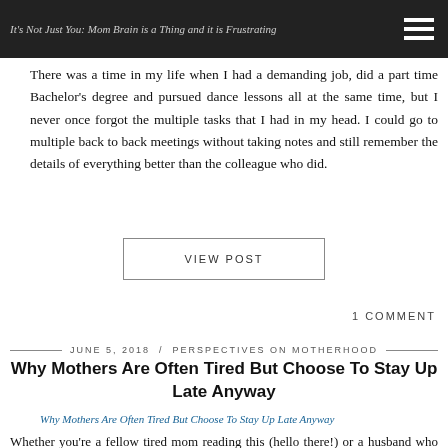It's Not Just You: Mom Brain is a Thing and it is Frustrating
There was a time in my life when I had a demanding job, did a part time Bachelor's degree and pursued dance lessons all at the same time, but I never once forgot the multiple tasks that I had in my head. I could go to multiple back to back meetings without taking notes and still remember the details of everything better than the colleague who did.
VIEW POST
1 COMMENT
JUNE 5, 2018 / PERSPECTIVES ON MOTHERHOOD
Why Mothers Are Often Tired But Choose To Stay Up Late Anyway
[Figure (photo): Broken image placeholder: Why Mothers Are Often Tired But Choose To Stay Up Late Anyway]
Whether you're a fellow tired mom reading this (hello there!) or a husband who wonders why the mother of your kids is always tired but stays up late